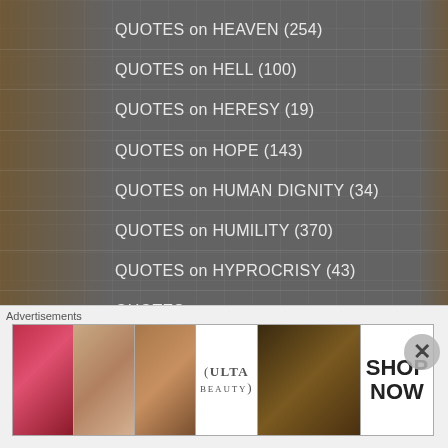QUOTES on HEAVEN (254)
QUOTES on HELL (100)
QUOTES on HERESY (19)
QUOTES on HOPE (143)
QUOTES on HUMAN DIGNITY (34)
QUOTES on HUMILITY (370)
QUOTES on HYPROCRISY (43)
QUOTES on HYPROCRISY/HYPOCRITES (2)
QUOTES on IGNORANCE (6)
QUOTES on INDIFFERENCE (9)
QUOTES on INNOCENCE (2)
Advertisements
[Figure (photo): Advertisement banner for ULTA Beauty featuring close-up photos of lips, makeup brush, eye, ULTA logo, eyes, and SHOP NOW call to action]